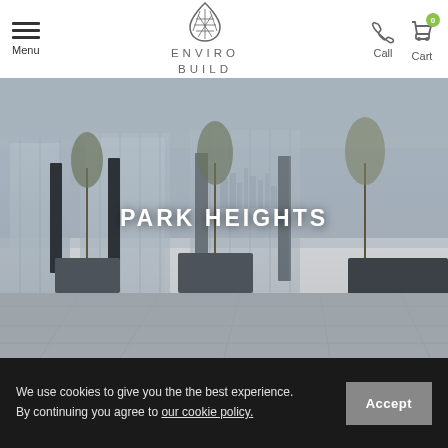Menu | ENVIRO BUILD | Call | Cart 0
[Figure (photo): Rooftop terrace with large light grey paving slabs, glass balustrade panels, tall dark planters with trees, and a city skyline in the background under an overcast sky.]
PARK HEIGHTS
We use cookies to give you the the best experience. By continuing you agree to our cookie policy.